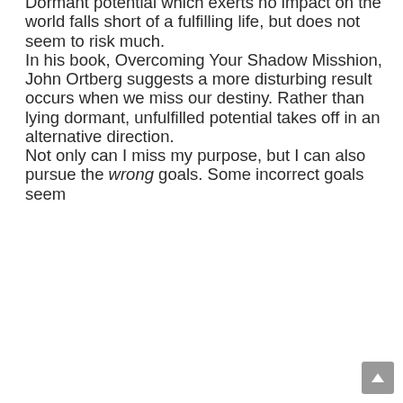Dormant potential which exerts no impact on the world falls short of a fulfilling life, but does not seem to risk much.

In his book, Overcoming Your Shadow Misshion, John Ortberg suggests a more disturbing result occurs when we miss our destiny. Rather than lying dormant, unfulfilled potential takes off in an alternative direction.

Not only can I miss my purpose, but I can also pursue the wrong goals. Some incorrect goals seem